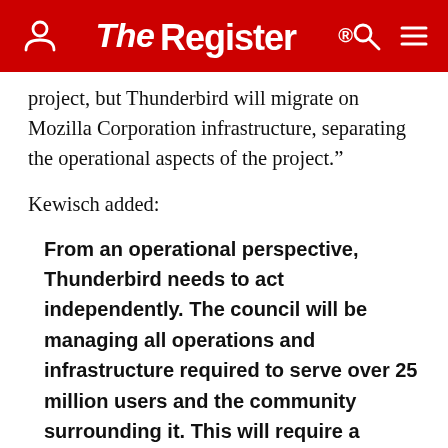The Register
project, but Thunderbird will migrate on Mozilla Corporation infrastructure, separating the operational aspects of the project."
Kewisch added:
From an operational perspective, Thunderbird needs to act independently. The council will be managing all operations and infrastructure required to serve over 25 million users and the community surrounding it. This will require a certain amount of working capital and the ability to make strong decisions. The Mozilla Foundation will work with the Thunderbird Council to ensure that operational decisions